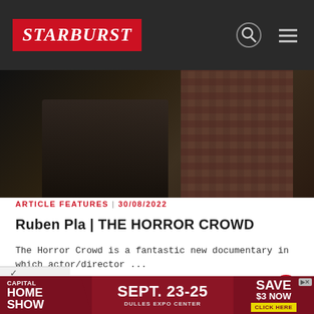STARBURST
[Figure (photo): Dark photograph showing people, one wearing a plaid shirt, in a dimly lit setting]
ARTICLE FEATURES | 30/08/2022
Ruben Pla | THE HORROR CROWD
The Horror Crowd is a fantastic new documentary in which actor/director ...
Read More
[Figure (infographic): Capital Home Show advertisement: SEPT. 23-25, Dulles Expo Center, Save $3 Now, Click Here]